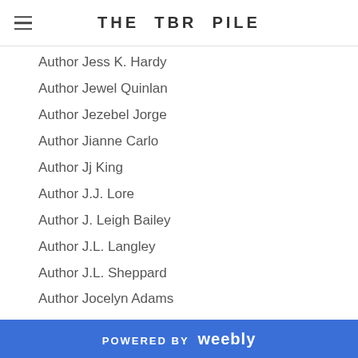THE TBR PILE
Author Jess K. Hardy
Author Jewel Quinlan
Author Jezebel Jorge
Author Jianne Carlo
Author Jj King
Author J.J. Lore
Author J. Leigh Bailey
Author J.L. Langley
Author J.L. Sheppard
Author Jocelyn Adams
Author Joe Cosentino
Author Joey Hook
Author John Heldt
Author John Inman
Author John Lescroart
Author John Ling
Author John Tristan
Author Jojo Brown
POWERED BY weebly